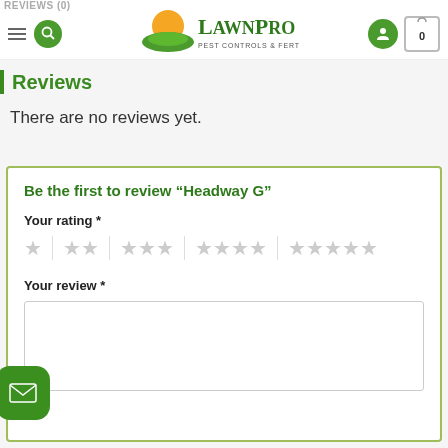REVIEWS (0)
[Figure (logo): LawnPro Pest Controls & Fertilizers logo with sun and grass graphic]
Reviews
There are no reviews yet.
Be the first to review “Headway G”
Your rating *
Your review *